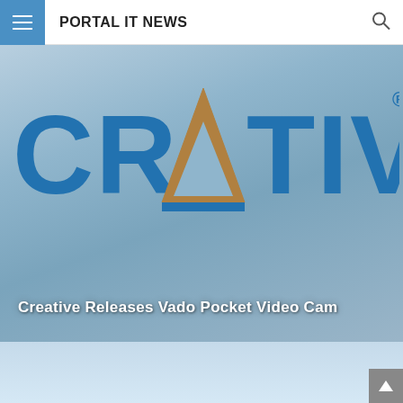PORTAL IT NEWS
[Figure (photo): Creative Technologies logo on a gray-blue background with the text 'Creative Releases Vado Pocket Video Cam' overlaid at the bottom]
Creative Releases Vado Pocket Video Cam